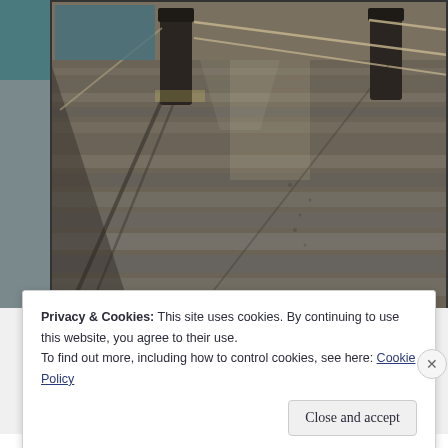[Figure (photo): A wooden pier/dock extending into water, viewed from above/ground level. Wooden planks with rope railings and bollard posts visible. Sunlight casting diagonal shadows across weathered grey wooden boards. Water visible in the background.]
Privacy & Cookies: This site uses cookies. By continuing to use this website, you agree to their use.
To find out more, including how to control cookies, see here: Cookie Policy
Close and accept